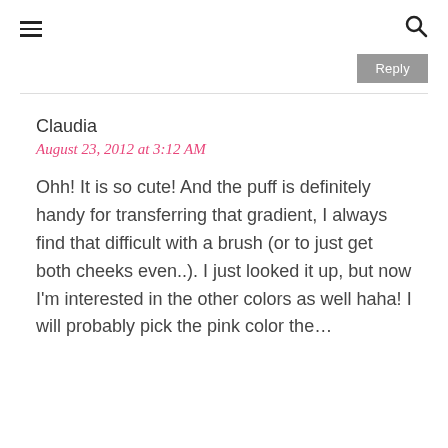≡  🔍
Reply
Claudia
August 23, 2012 at 3:12 AM
Ohh! It is so cute! And the puff is definitely handy for transferring that gradient, I always find that difficult with a brush (or to just get both cheeks even..). I just looked it up, but now I'm interested in the other colors as well haha! I will probably pick the pink color the…